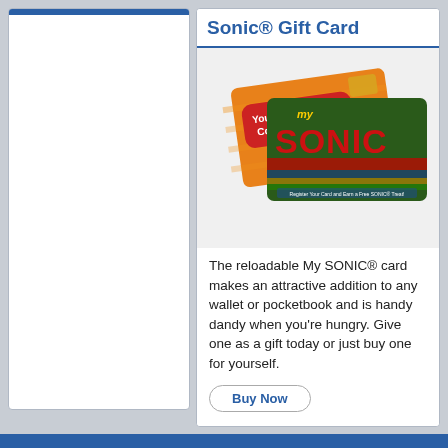Sonic® Gift Card
[Figure (photo): Two Sonic gift cards: an orange card saying 'Your Plastic Key to Coney Happiness' and a green/red 'my SONIC' card with text 'Register Your Card and Earn a Free SONIC® Treat!']
The reloadable My SONIC® card makes an attractive addition to any wallet or pocketbook and is handy dandy when you're hungry. Give one as a gift today or just buy one for yourself.
Buy Now